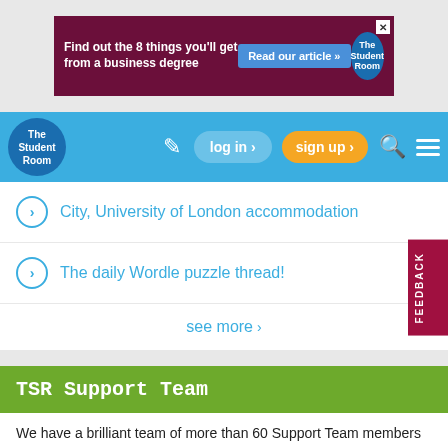[Figure (screenshot): Advertisement banner: 'Find out the 8 things you'll get from a business degree' with 'Read our article »' button and The Student Room logo]
The Student Room — log in › | sign up › | search | menu
City, University of London accommodation
The daily Wordle puzzle thread!
see more ›
TSR Support Team
We have a brilliant team of more than 60 Support Team members looking after discussions on The Student Room, helping to make it a fun, safe and useful place to hang out.
This forum is supported by:
PQ, Interrobang, Snufkin, shadowdweller, Smack, artful_lounger, 04MR17, Sandtrooper, umbrellala, PhoenixFortune, 匿名, barror1,